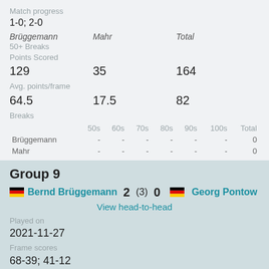Match progress
1-0; 2-0
| Brüggemann | Mahr | Total |
| --- | --- | --- |
| 50+ Breaks |  |  |
| Points Scored |  |  |
| 129 | 35 | 164 |
| Avg. points/frame |  |  |
| 64.5 | 17.5 | 82 |
| Breaks |  |  |
|  | 50s | 60s | 70s | 80s | 90s | 100s | Total |
| --- | --- | --- | --- | --- | --- | --- | --- |
| Brüggemann | - | - | - | - | - | - | 0 |
| Mahr | - | - | - | - | - | - | 0 |
Group 9
Bernd Brüggemann 2 (3) 0 Georg Pontow
View head-to-head
Played on
2021-11-27
Frame scores
68-39; 41-12
Match progress